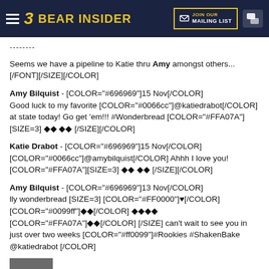Bear Insider — JOIN OUR MAILING LIST
--------
Seems we have a pipeline to Katie thru Amy amongst others... [/FONT][/SIZE][/COLOR]
Amy Bilquist - [COLOR="#696969"]15 Nov[/COLOR]
Good luck to my favorite [COLOR="#0066cc"]@katiedrabot[/COLOR] at state today! Go get 'em!!! #Wonderbread [COLOR="#FFA07A"][SIZE=3] ◆◆ ◆◆ [/SIZE][/COLOR]
Katie Drabot - [COLOR="#696969"]15 Nov[/COLOR]
[COLOR="#0066cc"]@amybilquist[/COLOR] Ahhh I love you!
[COLOR="#FFA07A"][SIZE=3] ◆◆ ◆◆ [/SIZE][/COLOR]
Amy Bilquist - [COLOR="#696969"]13 Nov[/COLOR]
lly wonderbread [SIZE=3] [COLOR="#FF0000"]♥[/COLOR]
[COLOR="#0099ff"]◆◆[/COLOR] ◆◆◆◆
[COLOR="#FFA07A"]◆◆[/COLOR] [/SIZE] can't wait to see you in just over two weeks [COLOR="#ff0099"]#Rookies #ShakenBake @katiedrabot [/COLOR]
[Figure (photo): Small grey image placeholder thumbnail]